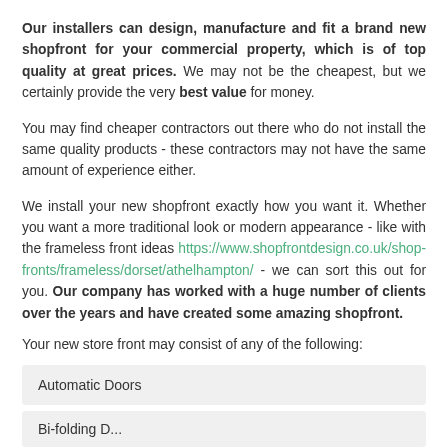Our installers can design, manufacture and fit a brand new shopfront for your commercial property, which is of top quality at great prices. We may not be the cheapest, but we certainly provide the very best value for money.
You may find cheaper contractors out there who do not install the same quality products - these contractors may not have the same amount of experience either.
We install your new shopfront exactly how you want it. Whether you want a more traditional look or modern appearance - like with the frameless front ideas https://www.shopfrontdesign.co.uk/shop-fronts/frameless/dorset/athelhampton/ - we can sort this out for you. Our company has worked with a huge number of clients over the years and have created some amazing shopfront.
Your new store front may consist of any of the following:
Automatic Doors
Bi-folding D...